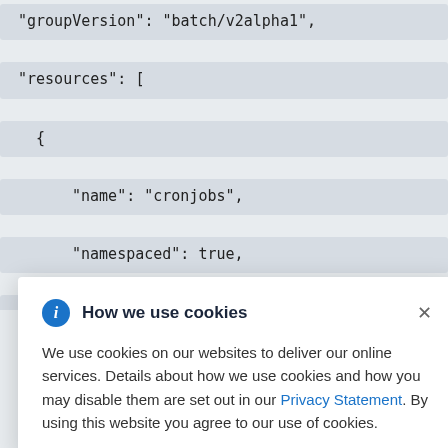"groupVersion": "batch/v2alpha1",
  "resources": [
    {
        "name": "cronjobs",
        "namespaced": true,
        "kind": "CronJob"
    },
How we use cookies
We use cookies on our websites to deliver our online services. Details about how we use cookies and how you may disable them are set out in our Privacy Statement. By using this website you agree to our use of cookies.